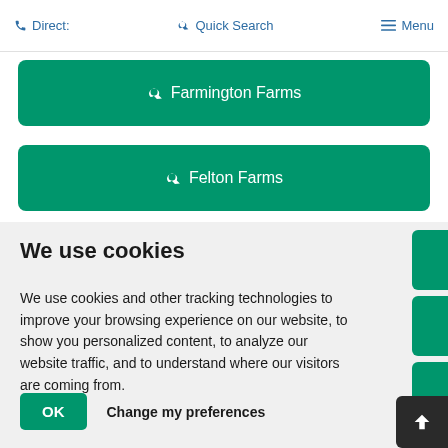Direct:   Quick Search   Menu
Farmington Farms
Felton Farms
We use cookies
We use cookies and other tracking technologies to improve your browsing experience on our website, to show you personalized content, to analyze our website traffic, and to understand where our visitors are coming from.
OK
Change my preferences